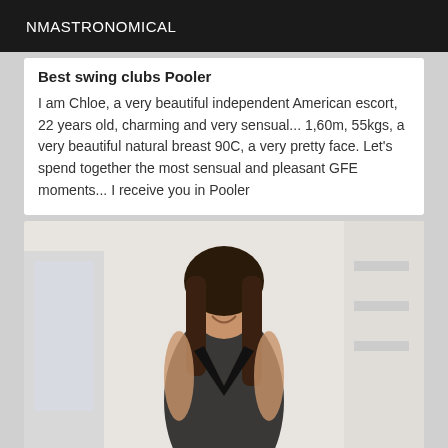NMASTRONOMICAL
Best swing clubs Pooler
I am Chloe, a very beautiful independent American escort, 22 years old, charming and very sensual... 1,60m, 55kgs, a very beautiful natural breast 90C, a very pretty face. Let's spend together the most sensual and pleasant GFE moments... I receive you in Pooler
[Figure (photo): Woman with long dark hair smiling, wearing a black low-cut outfit, standing indoors near a white wall and window.]